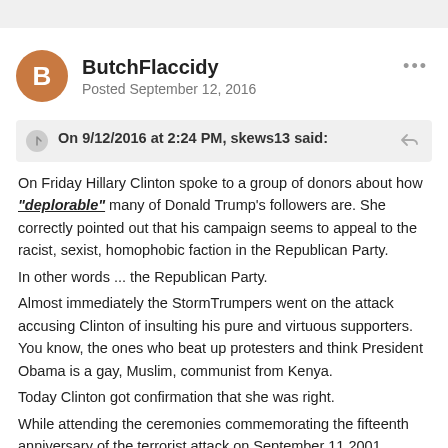ButchFlaccidy
Posted September 12, 2016
On 9/12/2016 at 2:24 PM, skews13 said:
On Friday Hillary Clinton spoke to a group of donors about how "deplorable" many of Donald Trump's followers are. She correctly pointed out that his campaign seems to appeal to the racist, sexist, homophobic faction in the Republican Party. In other words ... the Republican Party. Almost immediately the StormTrumpers went on the attack accusing Clinton of insulting his pure and virtuous supporters. You know, the ones who beat up protesters and think President Obama is a gay, Muslim, communist from Kenya. Today Clinton got confirmation that she was right. While attending the ceremonies commemorating the fifteenth anniversary of the terrorist attack on September 11,2001, Clinton briefly